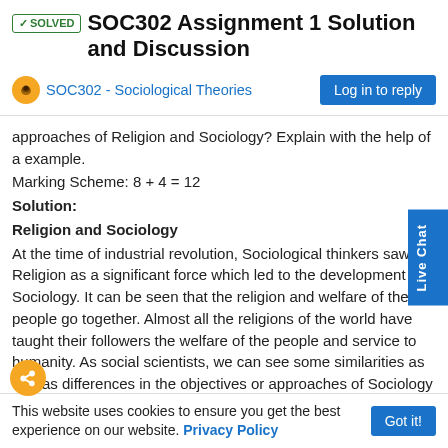✓SOLVED SOC302 Assignment 1 Solution and Discussion
SOC302 - Sociological Theories
approaches of Religion and Sociology? Explain with the help of a example.
Marking Scheme: 8 + 4 = 12
Solution:
Religion and Sociology
At the time of industrial revolution, Sociological thinkers saw Religion as a significant force which led to the development of Sociology. It can be seen that the religion and welfare of the people go together. Almost all the religions of the world have taught their followers the welfare of the people and service to humanity. As social scientists, we can see some similarities as well as differences in the objectives or approaches of Sociology and Religion.
Similarities in objectives:
Almost every religion has guided to improve the lives of the pity, ethics, honesty, looking after each other and good living which leads to happiness and welfare of the society.
This website uses cookies to ensure you get the best experience on our website. Privacy Policy